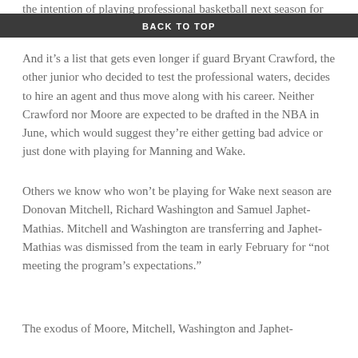the intention of playing professional basketball next season for somebody somewhere.
BACK TO TOP
And it’s a list that gets even longer if guard Bryant Crawford, the other junior who decided to test the professional waters, decides to hire an agent and thus move along with his career. Neither Crawford nor Moore are expected to be drafted in the NBA in June, which would suggest they’re either getting bad advice or just done with playing for Manning and Wake.
Others we know who won’t be playing for Wake next season are Donovan Mitchell, Richard Washington and Samuel Japhet-Mathias. Mitchell and Washington are transferring and Japhet-Mathias was dismissed from the team in early February for “not meeting the program’s expectations.”
The exodus of Moore, Mitchell, Washington and Japhet-